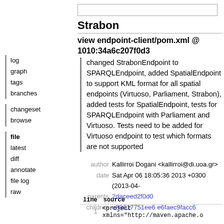Strabon
view endpoint-client/pom.xml @ 1010:34a6c207f0d3
log
graph
tags
branches
changeset
browse
file
latest
diff
annotate
file log
raw
changed StrabonEndpoint to SPARQLEndpoint, added SpatialEndpoint to support KML format for all spatial endpoints (Virtuoso, Parliament, Strabon), added tests for SpatialEndpoint, tests for SPARQLEndpoint with Parliament and Virtuoso. Tests need to be added for Virtuoso endpoint to test which formats are not supported
author Kallirroi Dogani <kallirroi@di.uoa.gr>
date Sat Apr 06 18:05:36 2013 +0300 (2013-04-
parents 2daceed2f0d0
children e88617751ee6 e6faec9facc6
| line | source |
| --- | --- |
| 1 | <project xmlns="http://maven.apache.o |